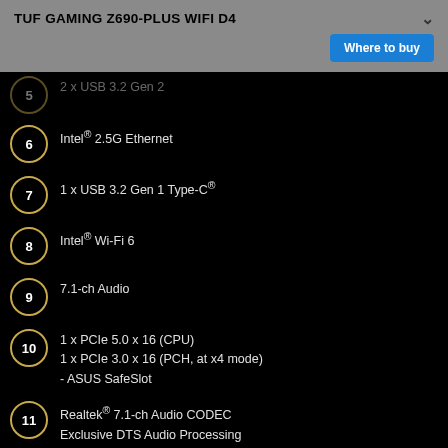TUF GAMING Z690-PLUS WIFI D4
5  2 x USB 3.2 Gen 2
6  Intel® 2.5G Ethernet
7  1 x USB 3.2 Gen 1 Type-C®
8  Intel® Wi-Fi 6
9  7.1-ch Audio
10  1 x PCIe 5.0 x 16 (CPU)
1 x PCIe 3.0 x 16 (PCH, at x4 mode)
- ASUS SafeSlot
11  Realtek® 7.1-ch Audio CODEC
Exclusive DTS Audio Processing
- TUF Gaming Audio Cover
- Audio Shielding
- Dedicated audio PCB layers
- Premium audio capacitors
12  ProCool Connectors
13  3 x Addressable Gen 2 RGB headers